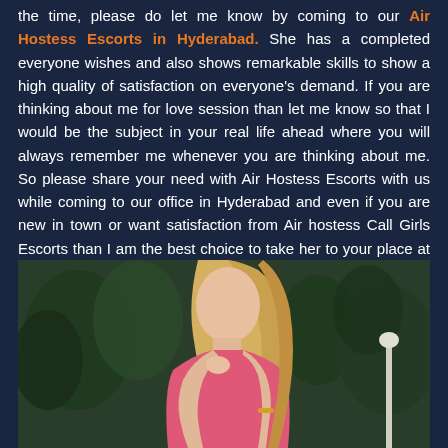the time, please do let me know by coming to our Air Hostess Escorts in Hyderabad. She has a completed everyone wishes and also shows remarkable skills to show a high quality of satisfaction on everyone's demand. If you are thinking about me for love session than let me know so that I would be the subject in your real life ahead where you will always remember me whenever you are thinking about me. So please share your need with Air Hostess Escorts with us while coming to our office in Hyderabad and even if you are new in town or want satisfaction from Air hostess Call Girls Escorts than I am the best choice to take her to your place at any time you want to complete your satisfaction with her.
[Figure (photo): A young blonde woman with long hair, wearing a pink top, standing outdoors with trees and a lamp post visible in the background.]